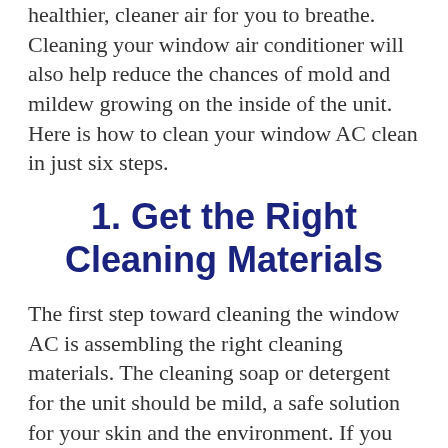healthier, cleaner air for you to breathe. Cleaning your window air conditioner will also help reduce the chances of mold and mildew growing on the inside of the unit. Here is how to clean your window AC clean in just six steps.
1. Get the Right Cleaning Materials
The first step toward cleaning the window AC is assembling the right cleaning materials. The cleaning soap or detergent for the unit should be mild, a safe solution for your skin and the environment. If you will be using hydrogen peroxide, it is important that you consider purchasing rubber gloves and eyewear for